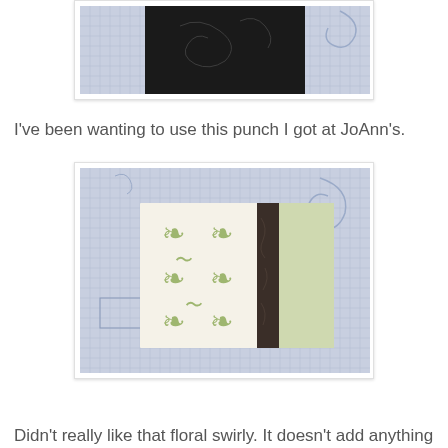[Figure (photo): Partial view of a dark/black card or paper on a grid cutting mat, cropped at top]
I've been wanting to use this punch I got at JoAnn's.
[Figure (photo): Craft project showing a card with green damask patterned paper, a dark brown/black strip, and a plain light green panel, laid on a grid cutting mat]
Didn't really like that floral swirly. It doesn't add anything